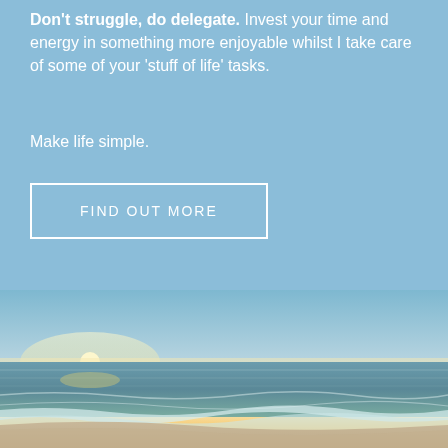Don't struggle, do delegate. Invest your time and energy in something more enjoyable whilst I take care of some of your 'stuff of life' tasks.
Make life simple.
FIND OUT MORE
[Figure (photo): Beach sunset photo showing ocean waves on a sandy beach with a warm golden/orange sky near the horizon and blue sky above]